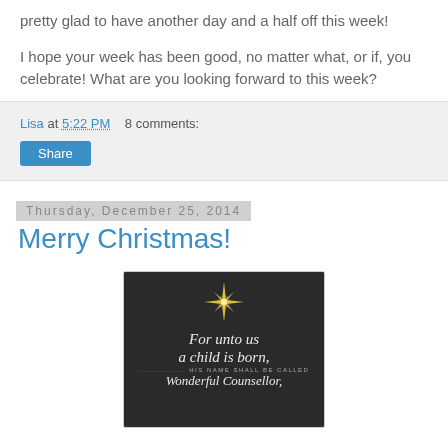pretty glad to have another day and a half off this week!
I hope your week has been good, no matter what, or if, you celebrate! What are you looking forward to this week?
Lisa at 5:22 PM    8 comments:
Share
Thursday, December 25, 2014
Merry Christmas!
[Figure (photo): Dark chalkboard-style Christmas card with a gold star at top and italic script text reading 'For unto us a child is born, ... HIS NAME SHALL BE CALLED Wonderful Counsellor.']